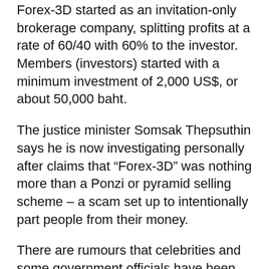Forex-3D started as an invitation-only brokerage company, splitting profits at a rate of 60/40 with 60% to the investor. Members (investors) started with a minimum investment of 2,000 US$, or about 50,000 baht.
The justice minister Somsak Thepsuthin says he is now investigating personally after claims that “Forex-3D” was nothing more than a Ponzi or pyramid selling scheme – a scam set up to intentionally part people from their money.
There are rumours that celebrities and some government officials have been victims of the scheme, and victims with many social media followers influenced others to invest. Victims have demanded that celebrities and others captured in photos with the company’s directors give the public an explanation.